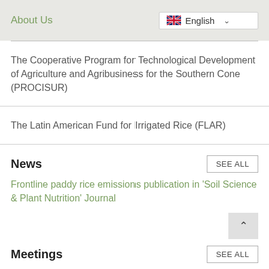About Us
The Cooperative Program for Technological Development of Agriculture and Agribusiness for the Southern Cone (PROCISUR)
The Latin American Fund for Irrigated Rice (FLAR)
News
Frontline paddy rice emissions publication in 'Soil Science & Plant Nutrition' Journal
Meetings